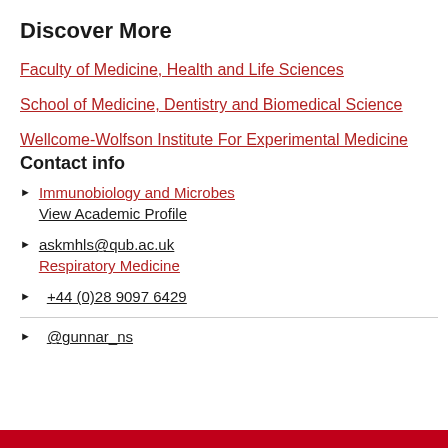Discover More
Faculty of Medicine, Health and Life Sciences
School of Medicine, Dentistry and Biomedical Science
Wellcome-Wolfson Institute For Experimental Medicine
Contact info
View Academic Profile
Immunobiology and Microbes
askmhls@qub.ac.uk
Respiratory Medicine
+44 (0)28 9097 6429
@gunnar_ns